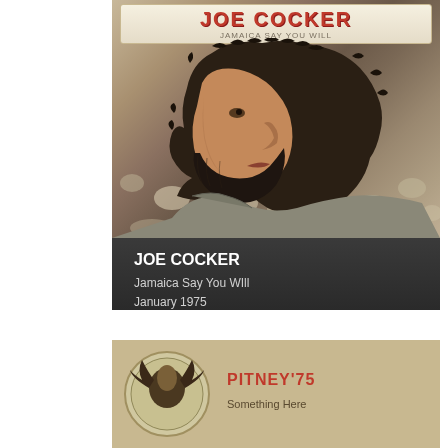[Figure (photo): Album cover for Joe Cocker 'Jamaica Say You Will' showing a man with curly dark hair and beard in profile view against a light background, with the text 'JOE COCKER' in red bold lettering at the top]
JOE COCKER
Jamaica Say You WIll
January 1975
[Figure (photo): Partial view of a second album cover at the bottom of the page, partially cut off, appears to have a circular emblem/logo on the left and red text on the right]